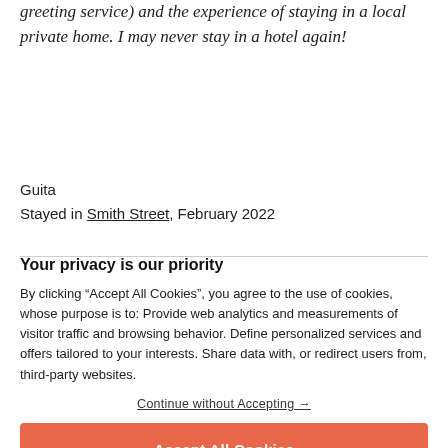greeting service) and the experience of staying in a local private home. I may never stay in a hotel again!
Guita
Stayed in Smith Street, February 2022
Your privacy is our priority
By clicking “Accept All Cookies”, you agree to the use of cookies, whose purpose is to: Provide web analytics and measurements of visitor traffic and browsing behavior. Define personalized services and offers tailored to your interests. Share data with, or redirect users from, third-party websites.
Continue without Accepting →
Accept All Cookies
Cookies Settings